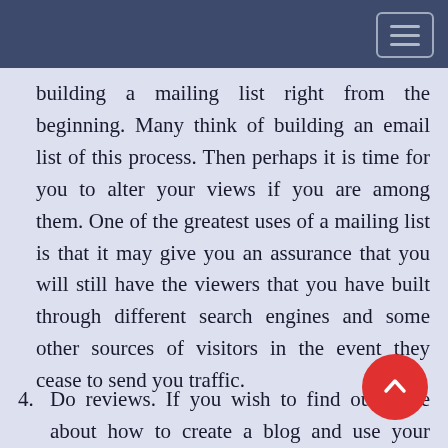building a mailing list right from the beginning. Many think of building an email list of this process. Then perhaps it is time for you to alter your views if you are among them. One of the greatest uses of a mailing list is that it may give you an assurance that you will still have the viewers that you have built through different search engines and some other sources of visitors in the event they cease to send you traffic.
4. Do reviews. If you wish to find out more about how to create a blog and use your blogging to maximize your income, then it is also good ideas that click here for more movie review